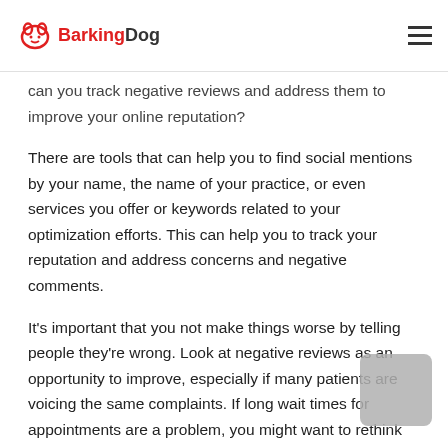Barking Dog
can you track negative reviews and address them to improve your online reputation?
There are tools that can help you to find social mentions by your name, the name of your practice, or even services you offer or keywords related to your optimization efforts.  This can help you to track your reputation and address concerns and negative comments.
It's important that you not make things worse by telling people they're wrong.  Look at negative reviews as an opportunity to improve, especially if many patients are voicing the same complaints.  If long wait times for appointments are a problem, you might want to rethink your scheduling strategy or increase staffing.  If a brusque bedside manner is a common issue, consider how you might present a warmer professional vibe.